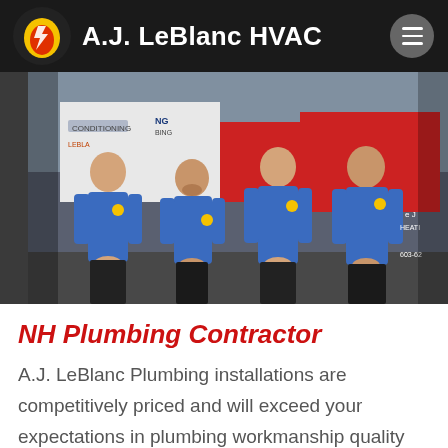A.J. LeBlanc HVAC
[Figure (photo): Four men in blue uniforms standing in front of A.J. LeBlanc HVAC/Plumbing branded vehicles]
NH Plumbing Contractor
A.J. LeBlanc Plumbing installations are competitively priced and will exceed your expectations in plumbing workmanship quality